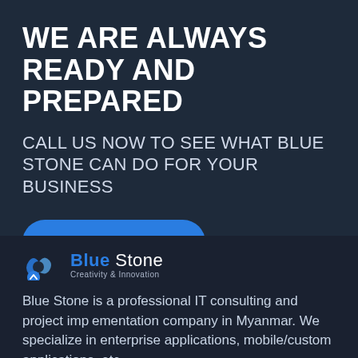WE ARE ALWAYS READY AND PREPARED
CALL US NOW TO SEE WHAT BLUE STONE CAN DO FOR YOUR BUSINESS
CONTACT US
[Figure (logo): Blue Stone logo with blue abstract icon and text 'Blue Stone / Creativity & Innovation']
Blue Stone is a professional IT consulting and project implementation company in Myanmar. We specialize in enterprise applications, mobile/custom applications, etc.